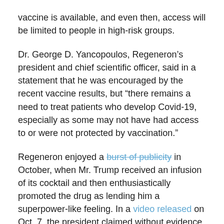vaccine is available, and even then, access will be limited to people in high-risk groups.
Dr. George D. Yancopoulos, Regeneron's president and chief scientific officer, said in a statement that he was encouraged by the recent vaccine results, but “there remains a need to treat patients who develop Covid-19, especially as some may not have had access to or were not protected by vaccination.”
Regeneron enjoyed a burst of publicity in October, when Mr. Trump received an infusion of its cocktail and then enthusiastically promoted the drug as lending him a superpower-like feeling. In a video released on Oct. 7, the president claimed without evidence that it had cured him, and that he had authorized it — something he does not have the power to do.